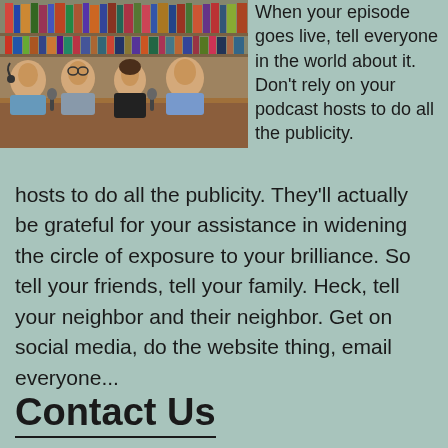[Figure (photo): Four people sitting around a wooden table in a library setting, talking and laughing, with microphones, recording a podcast.]
When your episode goes live, tell everyone in the world about it.  Don't rely on your podcast hosts to do all the publicity. They'll actually be grateful for your assistance in widening the circle of exposure to your brilliance. So tell your friends, tell your family.  Heck, tell your neighbor and their neighbor. Get on social media, do the website thing, email everyone...
Contact Us